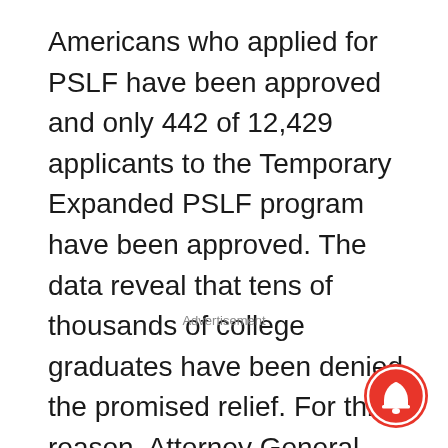Americans who applied for PSLF have been approved and only 442 of 12,429 applicants to the Temporary Expanded PSLF program have been approved. The data reveal that tens of thousands of college graduates have been denied the promised relief. For this reason, Attorney General Becerra has requested more complete data from the U.S. Department of Education to examine the scope and source of the problems in the administration of the PSLF program.
Advertisement